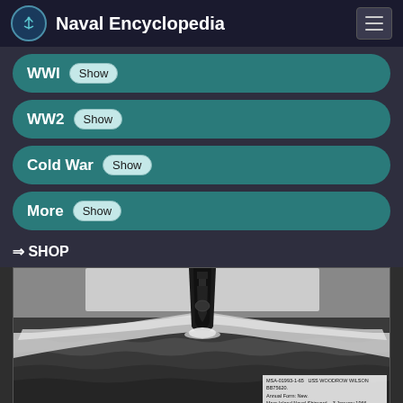Naval Encyclopedia
WWI Show
WW2 Show
Cold War Show
More Show
⇒ SHOP
[Figure (photo): Black and white photograph of a naval vessel (USS Woodrow Wilson BB-75620) cutting through ocean waves at speed, bow-on view showing wake. Caption: MSA-01993-1-65 USS WOODROW WILSON BB75620. Annual Form: New. Mare Island Naval Shipyard. 3 January 1966.]